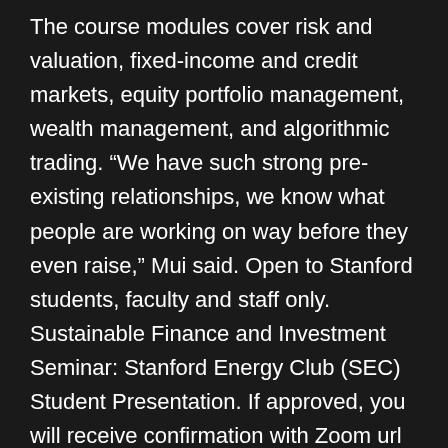The course modules cover risk and valuation, fixed-income and credit markets, equity portfolio management, wealth management, and algorithmic trading. “We have such strong pre-existing relationships, we know what people are working on way before they even raise,” Mui said. Open to Stanford students, faculty and staff only. Sustainable Finance and Investment Seminar: Stanford Energy Club (SEC) Student Presentation. If approved, you will receive confirmation with Zoom url that will work for all remaining seminar sessions this spring term. Yang and Yamazaki Energy & Environment Building. Tuesday, June 9, 2020 - 11:00am. “Especially in Silicon Valley where it seems kind of a status symbol and only accredited people can do it, it feels very elite” she said. Stanford Finance is ... Stanford Open Data Portal. With a Masters degree in Finance in USA, students will gain a strong foundation in business and finance principles. Mui thinks that Stanford 2020’s competitive advantage is largely the